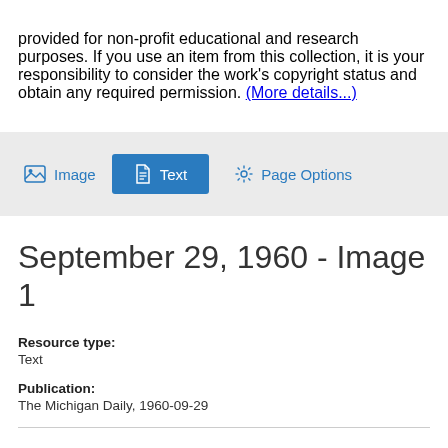provided for non-profit educational and research purposes. If you use an item from this collection, it is your responsibility to consider the work's copyright status and obtain any required permission. (More details...)
[Figure (screenshot): Toolbar with Image, Text, and Page Options buttons. Text button is highlighted in blue.]
September 29, 1960 - Image 1
Resource type:
Text
Publication:
The Michigan Daily, 1960-09-29